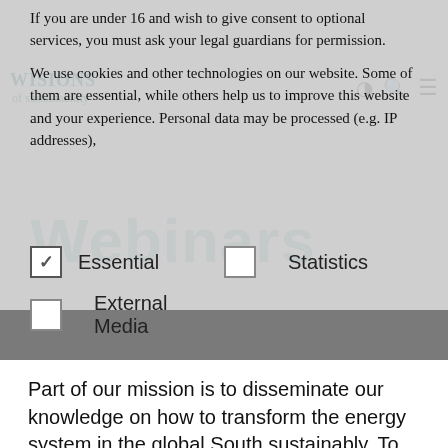If you are under 16 and wish to give consent to optional services, you must ask your legal guardians for permission.
We use cookies and other technologies on our website. Some of them are essential, while others help us to improve this website and your experience. Personal data may be processed (e.g. IP addresses),
✓ Essential
Statistics
External Media
← Resources
Part of our mission is to disseminate our knowledge on how to transform the energy system in the global South sustainably. To this aim, WISIONS holds webinars where we